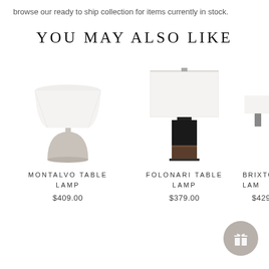browse our ready to ship collection for items currently in stock.
YOU MAY ALSO LIKE
[Figure (photo): Montalvo Table Lamp product photo — lamp with dome grey concrete base and white cylindrical shade]
MONTALVO TABLE LAMP
$409.00
[Figure (photo): Folonari Table Lamp product photo — lamp with dark rectangular base (black and wood tones) and large white rectangular shade]
FOLONARI TABLE LAMP
$379.00
[Figure (photo): Brixton Table Lamp — partially visible product photo cropped at right edge]
BRIXTON LAM
$429